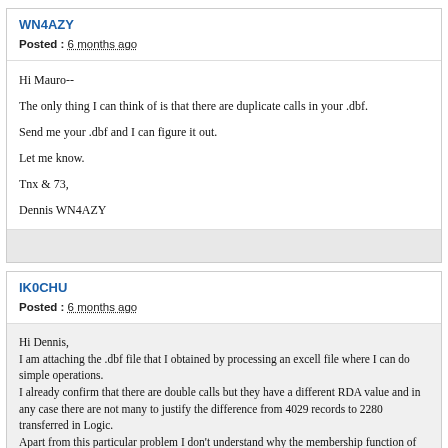WN4AZY
Posted : 6 months ago
Hi Mauro--

The only thing I can think of is that there are duplicate calls in your .dbf.

Send me your .dbf and I can figure it out.

Let me know.

Tnx & 73,

Dennis WN4AZY
IK0CHU
Posted : 6 months ago
Hi Dennis,
I am attaching the .dbf file that I obtained by processing an excell file where I can do simple operations.
I already confirm that there are double calls but they have a different RDA value and in any case there are not many to justify the difference from 4029 records to 2280 transferred in Logic.
Apart from this particular problem I don't understand why the membership function of RDA doesn't work like the one that type ASC, SEZ, WAIP. In fact, WAIS does not work automatically in filling fields either.